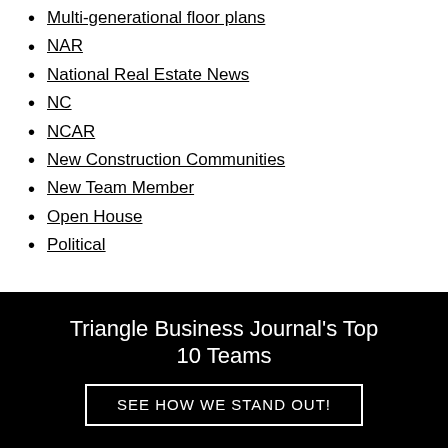Multi-generational floor plans
NAR
National Real Estate News
NC
NCAR
New Construction Communities
New Team Member
Open House
Political
Triangle Business Journal's Top 10 Teams
SEE HOW WE STAND OUT!